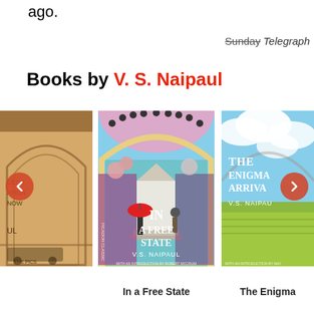ago.
Sunday Telegraph
Books by V. S. Naipaul
[Figure (photo): Partial book cover — left book in carousel, partially visible on left edge]
[Figure (photo): Book cover: In a Free State by V.S. Naipaul, Picador Classic edition, colorful illustrated cover with arch, flowers, figures with red umbrella]
[Figure (photo): Partial book cover — The Enigma of Arrival by V.S. Naipaul, showing sky and fields, partially visible on right edge]
In a Free State
The Enigma of Arrival